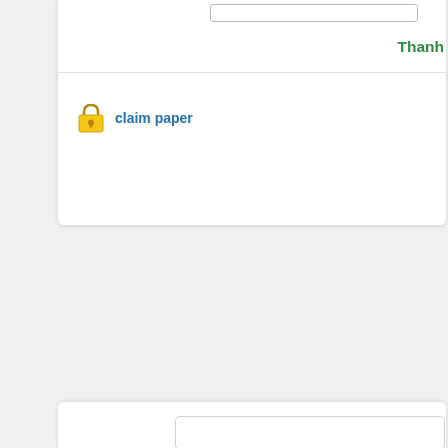Thanh
[Figure (illustration): Padlock icon next to claim paper link]
claim paper